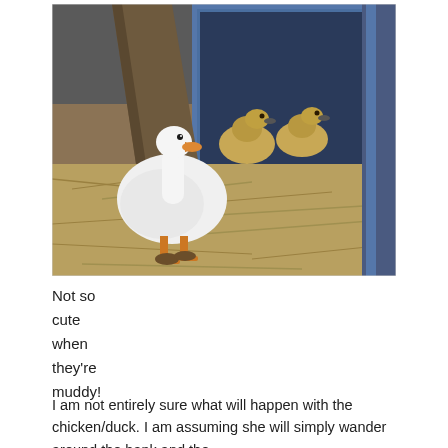[Figure (photo): A white adult duck stands on straw/hay in front of a blue metal container/feeder. Two small yellow-brown ducklings are nestled inside the blue container behind the adult duck. There is also a wooden board leaning against the container. The scene appears to be in a farm or barnyard setting.]
Not so
cute
when
they're
muddy!
I am not entirely sure what will happen with the chicken/duck. I am assuming she will simply wander around the bank and the